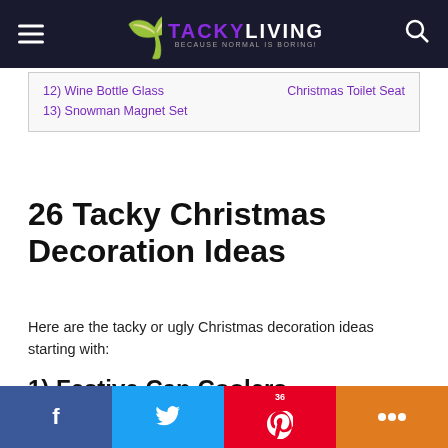TACKYLIVING — BECAUSE NORMAL IS BORING!
12) Wine Bottle Glass
Christmas Toilet Seat
13) Snowman Magnet Set
26 Tacky Christmas Decoration Ideas
Here are the tacky or ugly Christmas decoration ideas starting with:
1) Festive Can Coolers
[Figure (photo): Top portion of a can cooler product image]
f  [Twitter bird]  36  [Pinterest P]  +